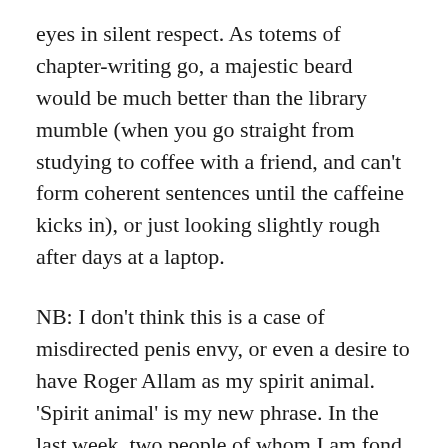eyes in silent respect. As totems of chapter-writing go, a majestic beard would be much better than the library mumble (when you go straight from studying to coffee with a friend, and can't form coherent sentences until the caffeine kicks in), or just looking slightly rough after days at a laptop.
NB: I don't think this is a case of misdirected penis envy, or even a desire to have Roger Allam as my spirit animal. 'Spirit animal' is my new phrase. In the last week, two people of whom I am fond have informed me that Enjolras from Les Mis is their spirit animal. One is a socialist writer on the working class, feminism and politics, and the other is my Christian, drama kid visiting student from California.
Anyway, the last few footnotes are underway, and although it's a sunny day, I don't want to go out in case the phone rings. #freelanceproblems